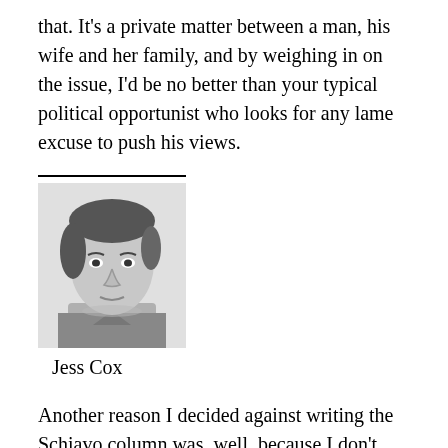that. It's a private matter between a man, his wife and her family, and by weighing in on the issue, I'd be no better than your typical political opportunist who looks for any lame excuse to push his views.
[Figure (photo): Black and white headshot portrait of Jess Cox, a person with short hair looking directly at the camera.]
Jess Cox
Another reason I decided against writing the Schiavo column was, well, because I don't care about Terri Schiavo. I feel sorry for her and her family, but what happens to her just